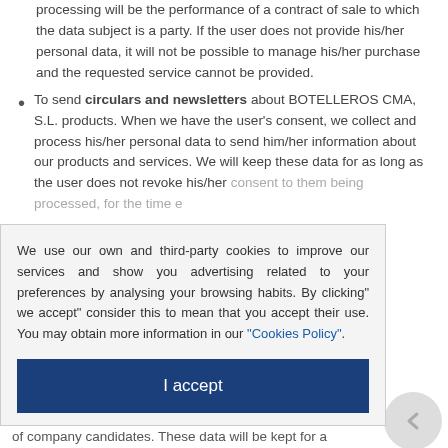processing will be the performance of a contract of sale to which the data subject is a party. If the user does not provide his/her personal data, it will not be possible to manage his/her purchase and the requested service cannot be provided.
To send circulars and newsletters about BOTELLEROS CMA, S.L. products. When we have the user's consent, we collect and process his/her personal data to send him/her information about our products and services. We will keep these data for as long as the user does not revoke his/her consent to them being processed, for the time established by ... basis for ... nsent ... acceptance of ... letter in the ... he user has ... without this ... on the ...
We use our own and third-party cookies to improve our services and show you advertising related to your preferences by analysing your browsing habits. By clicking" we accept" consider this to mean that you accept their use. You may obtain more information in our "Cookies Policy".
I accept
of company candidates. These data will be kept for a